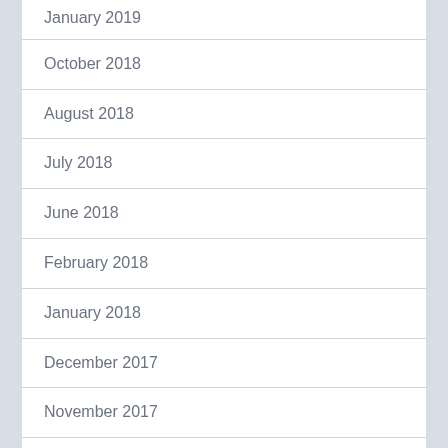January 2019
October 2018
August 2018
July 2018
June 2018
February 2018
January 2018
December 2017
November 2017
October 2017